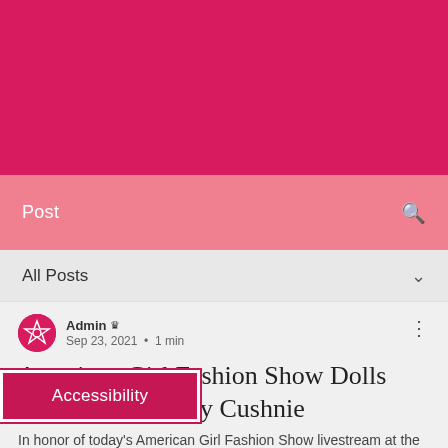[Figure (screenshot): Red/crimson banner at top of American Girl website]
Post
All Posts
Admin  Sep 23, 2021 · 1 min
American Girl Fashion Show Dolls Designed by Carly Cushnie
In honor of today's American Girl Fashion Show livestream at the New York City
Accessibility